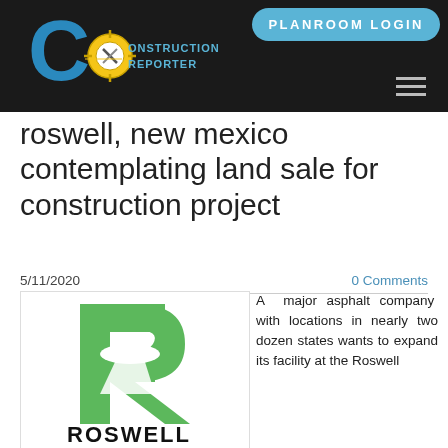[Figure (logo): Construction Reporter website header with logo (large C with construction tools/zia symbol) and 'PLANROOM LOGIN' button and hamburger menu on dark background]
roswell, new mexico contemplating land sale for construction project
5/11/2020
0 Comments
[Figure (logo): Roswell logo: large green letter R with white UFO/flying saucer silhouette, text 'ROSWELL' in bold black below]
A major asphalt company with locations in nearly two dozen states wants to expand its facility at the Roswell